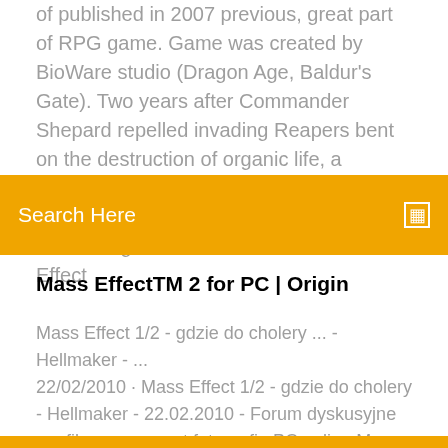of published in 2007 previous, great part of RPG game. Game was created by BioWare studio (Dragon Age, Baldur's Gate). Two years after Commander Shepard repelled invading Reapers bent on the destruction of organic life, a mysterious new enemy has emerged.On the fringes of known space, something is eliminating entire human colonies Mass Effect
Search Here
Mass EffectTM 2 for PC | Origin
Mass Effect 1/2 - gdzie do cholery ... - Hellmaker - ... 22/02/2010 · Mass Effect 1/2 - gdzie do cholery - Hellmaker - 22.02.2010 - Forum dyskusyjne gry filmy gra sprzęt fotografia PC online Mass Effect 2 - nowy gameplay o klasie Adept - ... Mass Effect 2 - nowy gameplay o klasie Adept - Video.Banzaj.pl - video filmy dla prawdziwych facetów 100+ things you might have missed in Mass Effect ...